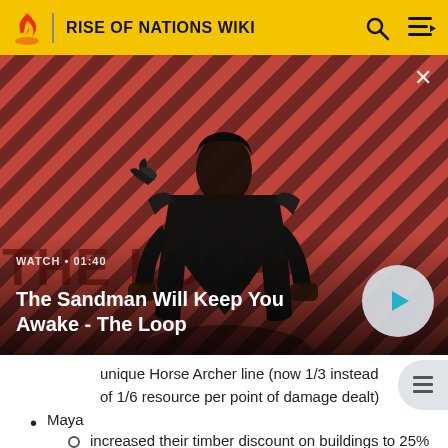RISE OF NATIONS WIKI
[Figure (screenshot): Video thumbnail showing a dark-clothed figure with a bird on shoulder against a red diagonal striped background. Shows 'THE LOOP' text in background. Video overlay shows 'WATCH • 01:40' and title 'The Sandman Will Keep You Awake - The Loop' with a play button.]
unique Horse Archer line (now 1/3 instead of 1/6 resource per point of damage dealt)
Maya
increased their timber discount on buildings to 25% from 20%